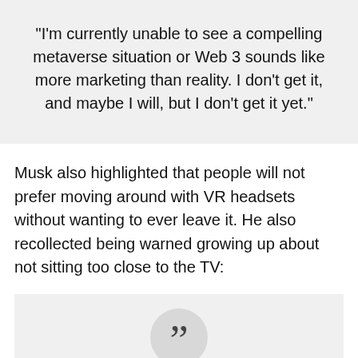“I’m currently unable to see a compelling metaverse situation or Web 3 sounds like more marketing than reality. I don’t get it, and maybe I will, but I don’t get it yet.”
Musk also highlighted that people will not prefer moving around with VR headsets without wanting to ever leave it. He also recollected being warned growing up about not sitting too close to the TV:
“It’s gonna ruin your eyesight, right?